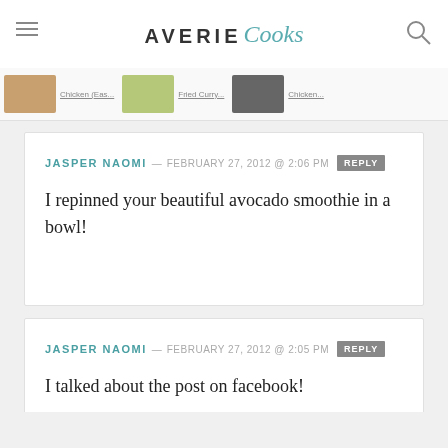AVERIE Cooks
[Figure (screenshot): Navigation strip with food images and partially visible text labels for Chicken (Eas..., Fried Curry..., Chicken...]
JASPER NAOMI — FEBRUARY 27, 2012 @ 2:06 PM REPLY
I repinned your beautiful avocado smoothie in a bowl!
JASPER NAOMI — FEBRUARY 27, 2012 @ 2:05 PM REPLY
I talked about the post on facebook!